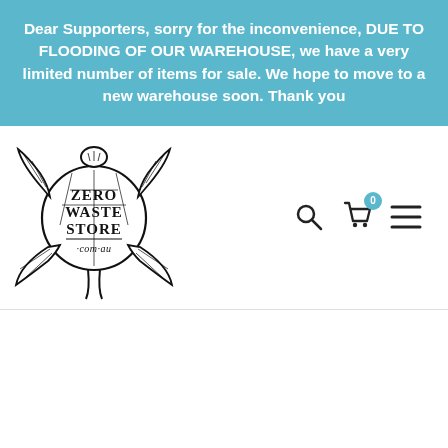Dear Supporters, sorry for the inconvenience, DUE TO FLOODING OF OUR WAREHOUSE, we have a very limited number of items for sale. We hope to move to a new warehouse soon. Thank you
[Figure (logo): Zero Waste Store .com.au logo featuring a sea turtle illustration with the text ZERO WASTE STORE .com.au inside a circle]